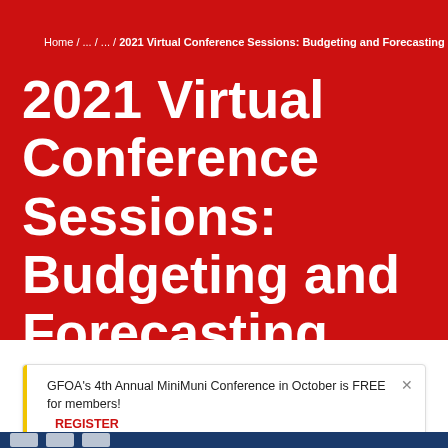Home / ... / ... / 2021 Virtual Conference Sessions: Budgeting and Forecasting
2021 Virtual Conference Sessions: Budgeting and Forecasting
GFOA's 4th Annual MiniMuni Conference in October is FREE for members!
REGISTER